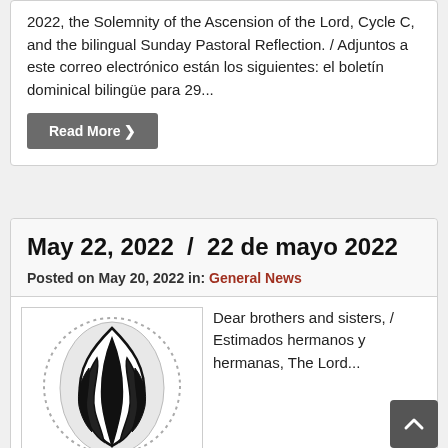2022, the Solemnity of the Ascension of the Lord, Cycle C, and the bilingual Sunday Pastoral Reflection. / Adjuntos a este correo electrónico están los siguientes: el boletín dominical bilingüe para 29...
Read More »
May 22, 2022  /  22 de mayo 2022
Posted on May 20, 2022 in: General News
[Figure (illustration): Black and white illustration of a flame or Pentecost fire symbol inside a circular dotted border, with the word 'you' partially visible at the bottom]
Dear brothers and sisters, / Estimados hermanos y hermanas, The Lord...